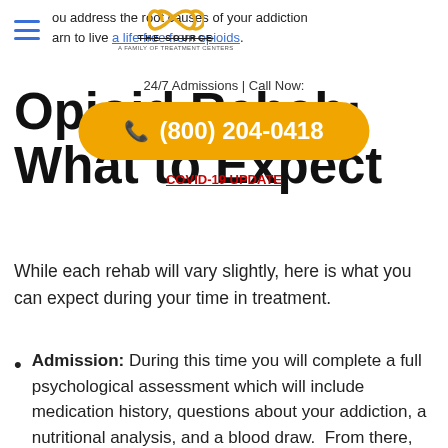ou address the root causes of your addiction arn to live a life free from opioids.
[Figure (logo): The Source - A Family of Treatment Centers logo with infinity symbol]
24/7 Admissions | Call Now:
Opioid Rehab: What to Expect
[Figure (infographic): Yellow call button with phone icon showing (800) 204-0418]
COVID-19 UPDATE
While each rehab will vary slightly, here is what you can expect during your time in treatment.
Admission: During this time you will complete a full psychological assessment which will include medication history, questions about your addiction, a nutritional analysis, and a blood draw. From there, you will work with